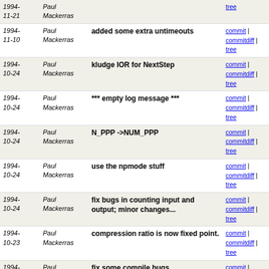| Date | Author | Message | Links |
| --- | --- | --- | --- |
| 1994-11-21 | Paul Mackerras |  | commit | commitdiff | tree |
| 1994-11-10 | Paul Mackerras | added some extra untimeouts | commit | commitdiff | tree |
| 1994-10-24 | Paul Mackerras | kludge IOR for NextStep | commit | commitdiff | tree |
| 1994-10-24 | Paul Mackerras | *** empty log message *** | commit | commitdiff | tree |
| 1994-10-24 | Paul Mackerras | N_PPP ->NUM_PPP | commit | commitdiff | tree |
| 1994-10-24 | Paul Mackerras | use the npmode stuff | commit | commitdiff | tree |
| 1994-10-24 | Paul Mackerras | fix bugs in counting input and output; minor changes... | commit | commitdiff | tree |
| 1994-10-23 | Paul Mackerras | compression ratio is now fixed point. | commit | commitdiff | tree |
| 1994-10-23 | Paul Mackerras | fix some compile bugs | commit | commitdiff | tree |
| 1994-10-22 | Paul Mackerras | split stats ioctl into two | commit | commitdiff | tree |
| 1994-10-22 | Paul Mackerras | some extra includes (string.h and stdlib.h) | commit | commitdiff | tree |
| 1994-10-22 | Paul Mackerras | fix get_ether_addr | commit | commitdiff | tree |
| 1994-10-22 | Paul Mackerras | get_input only reads one message; reset terminal properly | commit | commitdiff | tree |
| 1994-10-22 | Paul Mackerras | cope with EINTR from read | commit | commitdiff | tree |